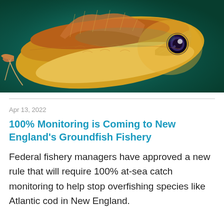[Figure (photo): Close-up photograph of a fish (likely a cod or similar groundfish) with golden-orange coloring, large eye, and barbel visible, swimming against a dark teal/green blurred background.]
Apr 13, 2022
100% Monitoring is Coming to New England's Groundfish Fishery
Federal fishery managers have approved a new rule that will require 100% at-sea catch monitoring to help stop overfishing species like Atlantic cod in New England.